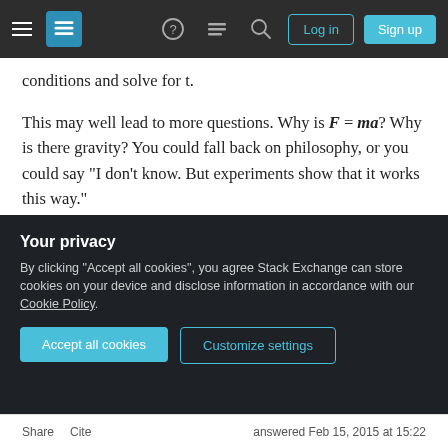Stack Exchange navigation bar with hamburger menu, logo, help, chat, search, Log in and Sign up buttons
conditions and solve for t.
This may well lead to more questions. Why is F = ma? Why is there gravity? You could fall back on philosophy, or you could say "I don't know. But experiments show that it works this way."
Why questions are usually about things that are unfamiliar. A young child will ask "Why is there gravity?" A high school student is more likely to ask "Why is F = ma?" He may not know the answer to the first question, but he has become used to it.
Your privacy
By clicking "Accept all cookies", you agree Stack Exchange can store cookies on your device and disclose information in accordance with our Cookie Policy.
Accept all cookies
Customize settings
Share  Cite                           answered Feb 15, 2015 at 15:22